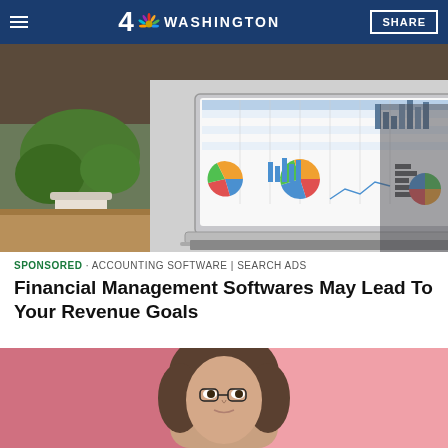4 NBC WASHINGTON | SHARE
[Figure (photo): Laptop computer on a wooden desk showing a spreadsheet with multiple charts including bar charts and pie charts, with a green plant in the background]
SPONSORED · ACCOUNTING SOFTWARE | SEARCH ADS
Financial Management Softwares May Lead To Your Revenue Goals
[Figure (photo): Close-up of a young woman with dark hair looking at the camera against a pink background]